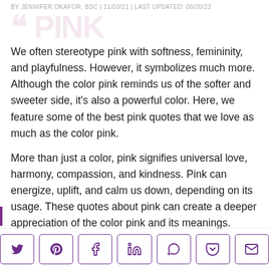BY JENNIFER OKAFOR, BSC | 11/03/21 | LAST UPDATED: 08/20/22
We often stereotype pink with softness, femininity, and playfulness. However, it symbolizes much more. Although the color pink reminds us of the softer and sweeter side, it's also a powerful color. Here, we feature some of the best pink quotes that we love as much as the color pink.
More than just a color, pink signifies universal love, harmony, compassion, and kindness. Pink can energize, uplift, and calm us down, depending on its usage. These quotes about pink can create a deeper appreciation of the color pink and its meanings.
Share buttons: Twitter, Pinterest, Facebook, LinkedIn, WhatsApp, Pocket, Email